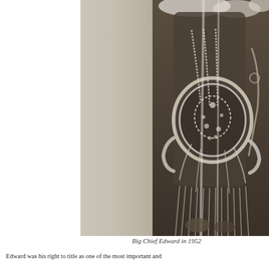[Figure (photo): A vintage black-and-white photograph showing a person in an elaborate Native American ceremonial regalia — heavily beaded and fringed costume with fur trim and decorative medallion, cropped to show the torso and lower body. The photograph appears aged and slightly damaged.]
Big Chief Edward in 1952
Edward was his right to title as one of the most important and...